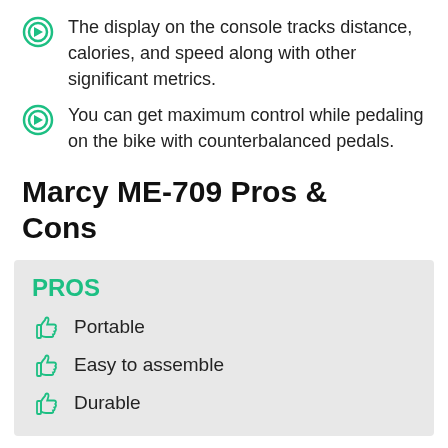The display on the console tracks distance, calories, and speed along with other significant metrics.
You can get maximum control while pedaling on the bike with counterbalanced pedals.
Marcy ME-709 Pros & Cons
PROS
Portable
Easy to assemble
Durable